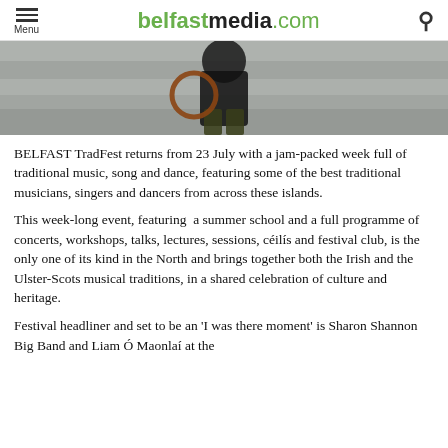belfastmedia.com
[Figure (photo): Partially visible photo of a person wearing a dark jacket and patterned trousers, standing in front of a water or stone background, holding what appears to be a circular object.]
BELFAST TradFest returns from 23 July with a jam-packed week full of traditional music, song and dance, featuring some of the best traditional musicians, singers and dancers from across these islands.
This week-long event, featuring  a summer school and a full programme of concerts, workshops, talks, lectures, sessions, céilís and festival club, is the only one of its kind in the North and brings together both the Irish and the Ulster-Scots musical traditions, in a shared celebration of culture and heritage.
Festival headliner and set to be an 'I was there moment' is Sharon Shannon Big Band and Liam Ó Maonlaí at the